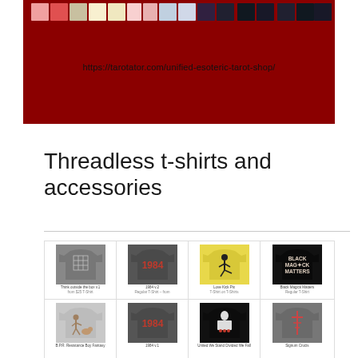[Figure (photo): Red background banner image showing tarot card boxes arranged in a row at the top, with URL text 'https://tarotator.com/unified-esoteric-tarot-shop/' overlaid on the red background]
Threadless t-shirts and accessories
[Figure (screenshot): Grid of Threadless t-shirt product images showing 8 shirts in a 4x2 grid. Row 1: gray shirt with grid design, dark gray shirt with '1984', yellow shirt with figure, black shirt with 'BLACK MAGICK MATTERS'. Row 2: light gray shirt with figure, dark gray shirt with '1984', black shirt with symbols, gray shirt with symbol.]